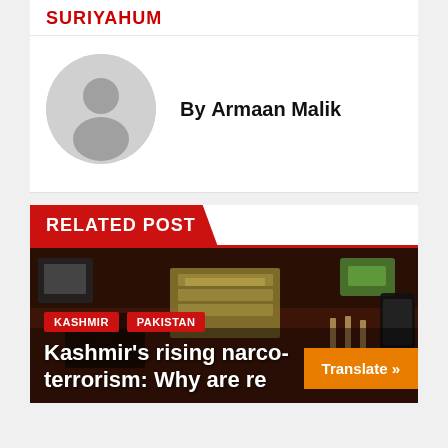SURIYAHUM
By Armaan Malik
RELATED POST
[Figure (photo): Photo showing cash (banknotes), syringes, drug paraphernalia and other items on a dark wooden surface. Overlay tags: KASHMIR, PAKISTAN. Article title: Kashmir's rising narco-terrorism: Why are re]
KASHMIR   PAKISTAN
Kashmir's rising narco-terrorism: Why are re
Translate »